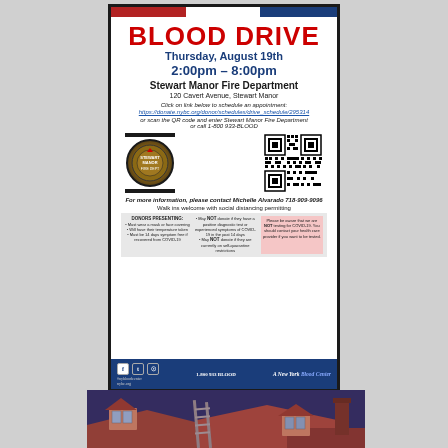[Figure (infographic): Blood Drive flyer for Stewart Manor Fire Department, Thursday August 19th, 2:00pm-8:00pm, with QR code, fire department logo, donor requirements, and New York Blood Center branding]
[Figure (photo): Evening/dusk photo of rooftop with a ladder leaning against a house, two dormer windows visible, blue-purple sky background]